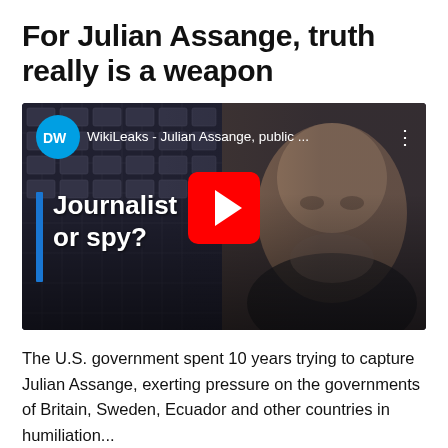For Julian Assange, truth really is a weapon
[Figure (screenshot): YouTube video thumbnail from DW showing Julian Assange's face in the background with text 'Journalist or spy?' overlaid, with a blue vertical bar and DW logo. Video title reads 'WikiLeaks - Julian Assange, public ...']
The U.S. government spent 10 years trying to capture Julian Assange, exerting pressure on the governments of Britain, Sweden, Ecuador and other countries in humiliation...